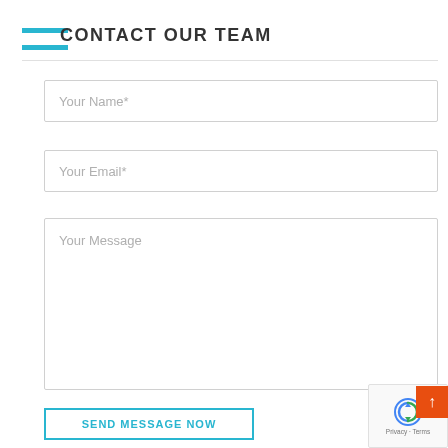CONTACT OUR TEAM
Your Name*
Your Email*
Your Message
Send Message Now